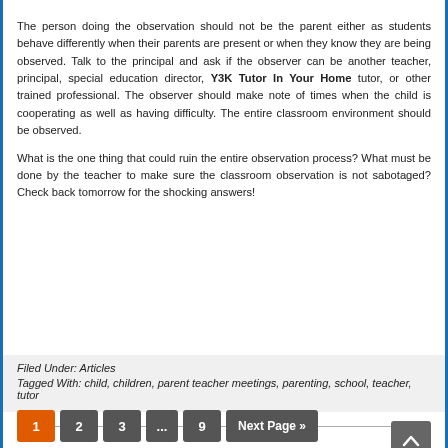The person doing the observation should not be the parent either as students behave differently when their parents are present or when they know they are being observed. Talk to the principal and ask if the observer can be another teacher, principal, special education director, Y3K Tutor In Your Home tutor, or other trained professional. The observer should make note of times when the child is cooperating as well as having difficulty. The entire classroom environment should be observed.
What is the one thing that could ruin the entire observation process? What must be done by the teacher to make sure the classroom observation is not sabotaged? Check back tomorrow for the shocking answers!
Filed Under: Articles
Tagged With: child, children, parent teacher meetings, parenting, school, teacher, tutor
1 2 3 ... 9 Next Page »